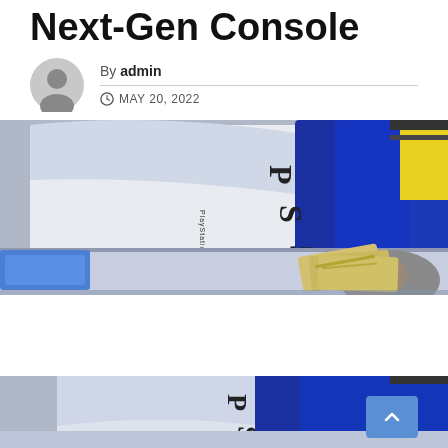Next-Gen Console
By admin
MAY 20, 2022
[Figure (photo): PS5 consoles displayed in blue and white packaging at a retail store, with a person holding cash (Japanese yen notes) at the counter]
[Figure (photo): Second cropped photo of PS5 consoles in blue and white packaging at retail store]